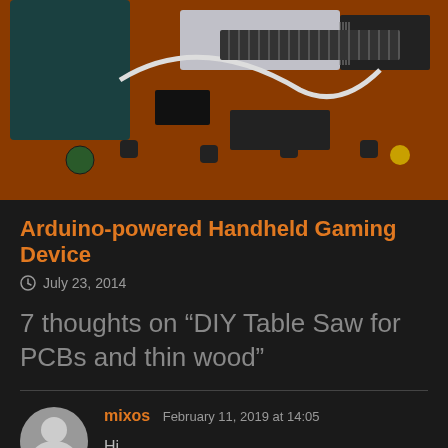[Figure (photo): Circuit board (PCB) photo showing an Arduino-based handheld gaming device with components, buttons, display, and wires on an orange PCB]
Arduino-powered Handheld Gaming Device
July 23, 2014
7 thoughts on “DIY Table Saw for PCBs and thin wood”
mixos  February 11, 2019 at 14:05
Hi,
Thanks for this nice tiny saw. I have a